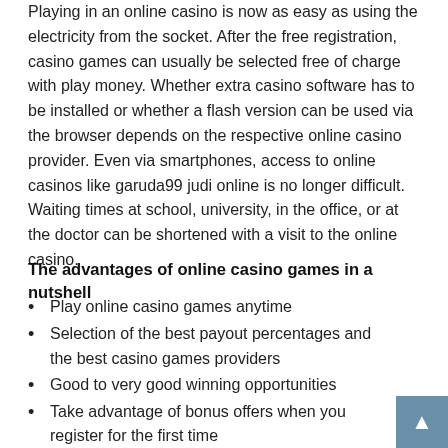Playing in an online casino is now as easy as using the electricity from the socket. After the free registration, casino games can usually be selected free of charge with play money. Whether extra casino software has to be installed or whether a flash version can be used via the browser depends on the respective online casino provider. Even via smartphones, access to online casinos like garuda99 judi online is no longer difficult. Waiting times at school, university, in the office, or at the doctor can be shortened with a visit to the online casino.
The advantages of online casino games in a nutshell
Play online casino games anytime
Selection of the best payout percentages and the best casino games providers
Good to very good winning opportunities
Take advantage of bonus offers when you register for the first time
Pastime with a fun factor and an option to win money
Pleasant online casino community for exchanging experiences